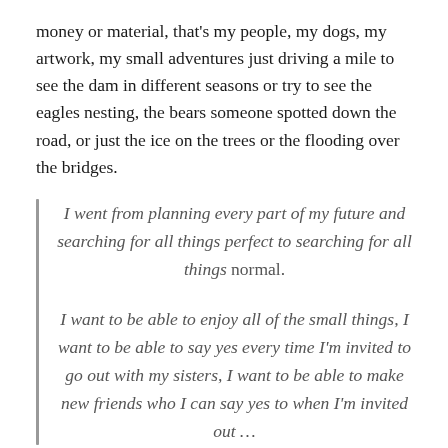money or material, that's my people, my dogs, my artwork, my small adventures just driving a mile to see the dam in different seasons or try to see the eagles nesting, the bears someone spotted down the road, or just the ice on the trees or the flooding over the bridges.
I went from planning every part of my future and searching for all things perfect to searching for all things normal.
I want to be able to enjoy all of the small things, I want to be able to say yes every time I'm invited to go out with my sisters, I want to be able to make new friends who I can say yes to when I'm invited out …